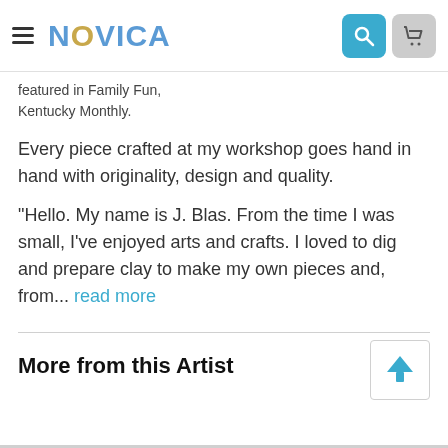NOVICA
featured in Family Fun, Kentucky Monthly.
Every piece crafted at my workshop goes hand in hand with originality, design and quality.
"Hello. My name is J. Blas. From the time I was small, I've enjoyed arts and crafts. I loved to dig and prepare clay to make my own pieces and, from... read more
More from this Artist
View all